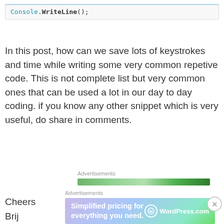Console.WriteLine();
In this post, how can we save lots of keystrokes and time while writing some very common repetive code. This is not complete list but very common ones that can be used a lot in our day to day coding. if you know any other snippet which is very useful, do share in comments.
Cheers
Brij
Advertisements
[Figure (other): Green advertisement bar]
Advertisements
[Figure (other): WordPress.com advertisement banner: Simplified pricing for everything you need.]